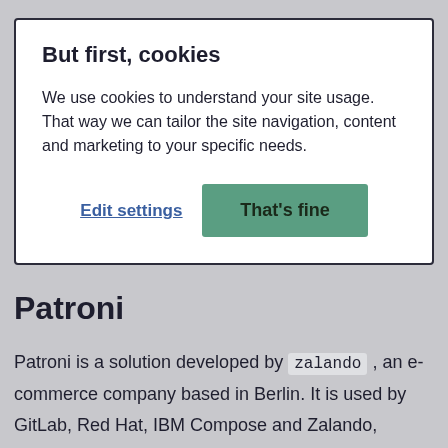But first, cookies
We use cookies to understand your site usage. That way we can tailor the site navigation, content and marketing to your specific needs.
Edit settings
That's fine
Patroni
Patroni is a solution developed by zalando , an e-commerce company based in Berlin. It is used by GitLab, Red Hat, IBM Compose and Zalando,